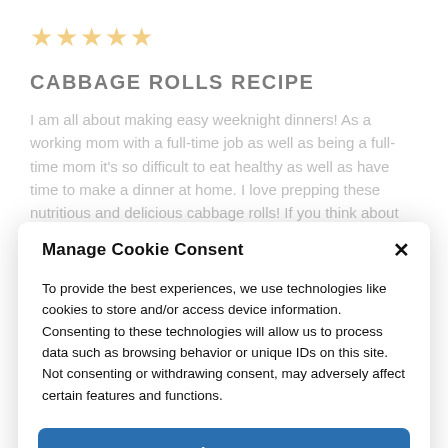[Figure (other): Five orange star rating icons]
CABBAGE ROLLS RECIPE
I am all about making easy weeknight dinners! As a working mom with a full-time job as well as being a full-time mom it’s so difficult to eat healthy as well as have time to make a dinner at home. I love prepping these nutritious and delicious cabbage rolls! If you think about
Manage Cookie Consent
To provide the best experiences, we use technologies like cookies to store and/or access device information. Consenting to these technologies will allow us to process data such as browsing behavior or unique IDs on this site. Not consenting or withdrawing consent, may adversely affect certain features and functions.
Accept
Cookie Policy   PRIVACY & COOKIE POLICY